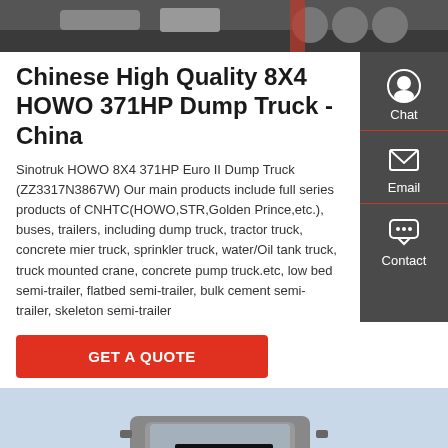[Figure (photo): Top portion of a HOWO dump truck, showing chassis and axle components, cropped at top of page]
Chinese High Quality 8X4 HOWO 371HP Dump Truck - China
Sinotruk HOWO 8X4 371HP Euro II Dump Truck (ZZ3317N3867W) Our main products include full series products of CNHTC(HOWO,STR,Golden Prince,etc.), buses, trailers, including dump truck, tractor truck, concrete mier truck, sprinkler truck, water/Oil tank truck, truck mounted crane, concrete pump truck.etc, low bed semi-trailer, flatbed semi-trailer, bulk cement semi-trailer, skeleton semi-trailer
[Figure (screenshot): Sidebar with Chat, Email, and Contact icons on dark gray background]
[Figure (photo): Front view of a HOWO heavy truck cab in gray color against a light blue sky background]